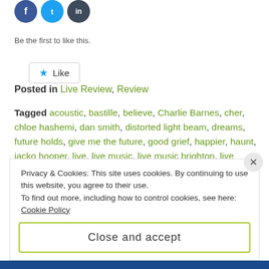[Figure (other): Social media share icons: Facebook (blue circle), Twitter (light blue circle), dark circle icon]
Like
Be the first to like this.
Posted in Live Review, Review
Tagged acoustic, bastille, believe, Charlie Barnes, cher, chloe hashemi, dan smith, distorted light beam, dreams, future holds, give me the future, good grief, happier, haunt, jacko hooper, live, live music, live music brighton, live music review, Live Review, music, new music, no bad days, now listening, now playing, out now, pompeii, pop, power, shut off the lights, stripped, stripped back, warmth
Privacy & Cookies: This site uses cookies. By continuing to use this website, you agree to their use.
To find out more, including how to control cookies, see here: Cookie Policy
Close and accept